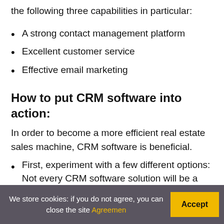the following three capabilities in particular:
A strong contact management platform
Excellent customer service
Effective email marketing
How to put CRM software into action:
In order to become a more efficient real estate sales machine, CRM software is beneficial.
First, experiment with a few different options: Not every CRM software solution will be a good fit for your company or your personal style, so it's crucial
We store cookies: if you do not agree, you can close the site Agreemen